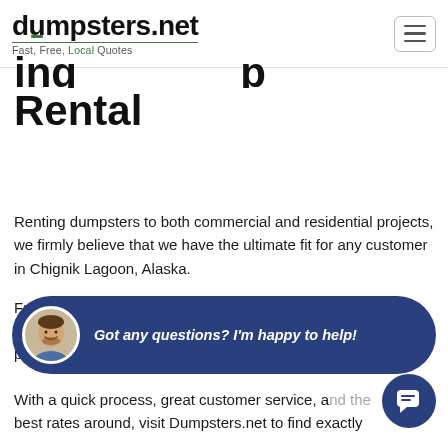dumpsters.net — Fast, Free, Local Quotes
Dumpster Rental
Renting dumpsters to both commercial and residential projects, we firmly believe that we have the ultimate fit for any customer in Chignik Lagoon, Alaska.
From 10 yard to 40 yard dumpsters, we can give you the best options. We take into account what you need and put everything into place so that we can plan your project and find you the best fit for the best deal.
[Figure (other): Chat widget bubble with avatar photo of smiling man and text: Got any questions? I'm happy to help!]
With a quick process, great customer service, and the best rates around, visit Dumpsters.net to find exactly